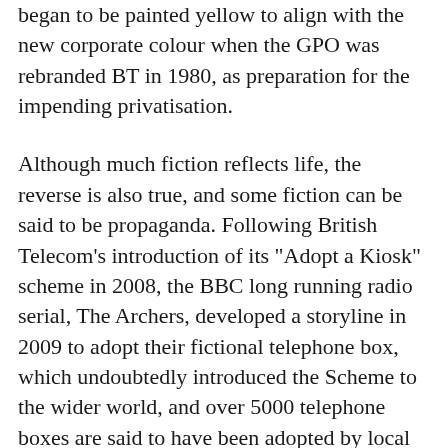began to be painted yellow to align with the new corporate colour when the GPO was rebranded BT in 1980, as preparation for the impending privatisation.
Although much fiction reflects life, the reverse is also true, and some fiction can be said to be propaganda. Following British Telecom’s introduction of its “Adopt a Kiosk” scheme in 2008, the BBC long running radio serial, The Archers, developed a storyline in 2009 to adopt their fictional telephone box, which undoubtedly introduced the Scheme to the wider world, and over 5000 telephone boxes are said to have been adopted by local communities.
The communities of the Mease Valley have joined the throng. Following the decommission of their 3 telephone boxes, the Parish Councils at Harlaston, and Clifton Campville with Thorpe Constantine, have